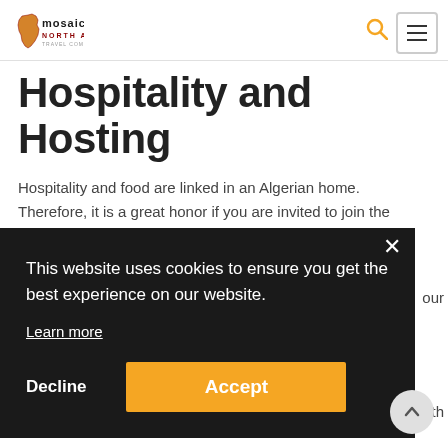Mosaic North Africa — navigation bar with logo, search icon, and hamburger menu
Hospitality and Hosting
Hospitality and food are linked in an Algerian home. Therefore, it is a great honor if you are invited to join the family for a meal. When in the [home, you should show your appreciation...] with
This website uses cookies to ensure you get the best experience on our website.
Learn more
Decline
Accept